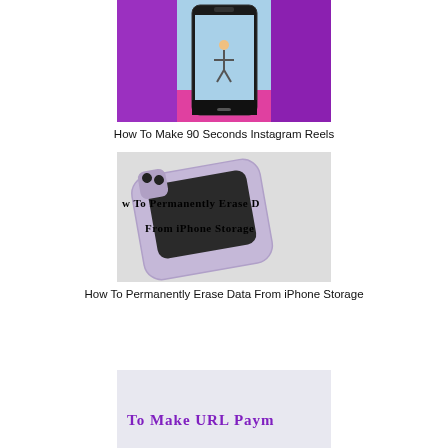[Figure (photo): Thumbnail image for Instagram Reels article showing a phone with a skateboarder on a pink/purple background]
How To Make 90 Seconds Instagram Reels
[Figure (photo): Thumbnail image showing a purple iPhone with text 'How To Permanently Erase Data From iPhone Storage' on it]
How To Permanently Erase Data From iPhone Storage
[Figure (photo): Partial thumbnail image showing text 'How To Make URL Paym...' partially visible at bottom of page]